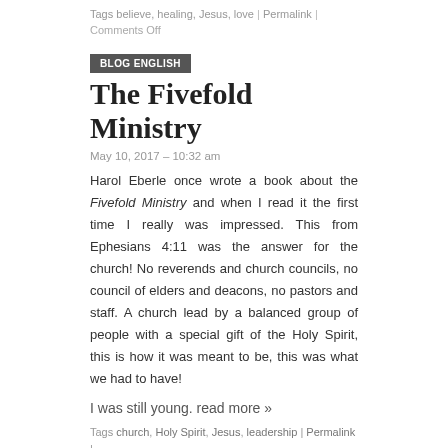Tags believe, healing, Jesus, love | Permalink | Comments Off
BLOG ENGLISH
The Fivefold Ministry
May 10, 2017 – 10:32 am
Harol Eberle once wrote a book about the Fivefold Ministry and when I read it the first time I really was impressed. This from Ephesians 4:11 was the answer for the church! No reverends and church councils, no council of elders and deacons, no pastors and staff. A church lead by a balanced group of people with a special gift of the Holy Spirit, this is how it was meant to be, this was what we had to have!
I was still young. read more »
Tags church, Holy Spirit, Jesus, leadership | Permalink | Comments Off